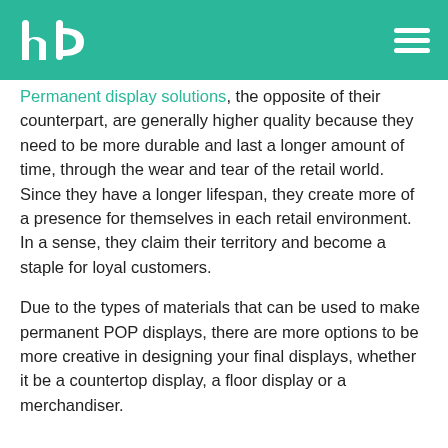hd logo and hamburger menu
Permanent display solutions, the opposite of their counterpart, are generally higher quality because they need to be more durable and last a longer amount of time, through the wear and tear of the retail world. Since they have a longer lifespan, they create more of a presence for themselves in each retail environment. In a sense, they claim their territory and become a staple for loyal customers.
Due to the types of materials that can be used to make permanent POP displays, there are more options to be more creative in designing your final displays, whether it be a countertop display, a floor display or a merchandiser.